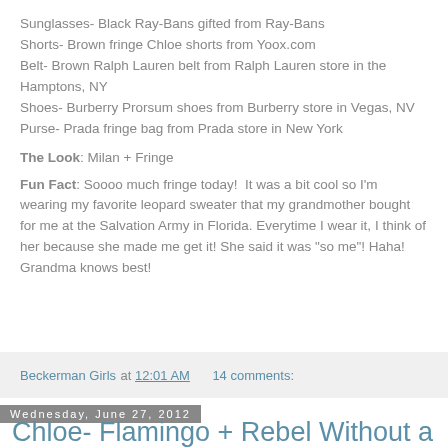Sunglasses- Black Ray-Bans gifted from Ray-Bans
Shorts- Brown fringe Chloe shorts from Yoox.com
Belt- Brown Ralph Lauren belt from Ralph Lauren store in the Hamptons, NY
Shoes- Burberry Prorsum shoes from Burberry store in Vegas, NV
Purse- Prada fringe bag from Prada store in New York
The Look: Milan + Fringe
Fun Fact: Soooo much fringe today!  It was a bit cool so I'm wearing my favorite leopard sweater that my grandmother bought for me at the Salvation Army in Florida. Everytime I wear it, I think of her because she made me get it! She said it was "so me"! Haha! Grandma knows best!
Beckerman Girls at 12:01 AM  14 comments:
Wednesday, June 27, 2012
Chloe- Flamingo + Rebel Without a